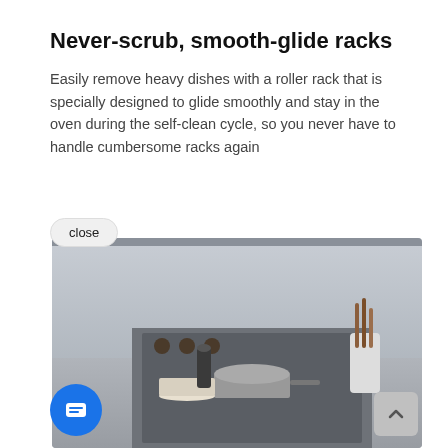Never-scrub, smooth-glide racks
Easily remove heavy dishes with a roller rack that is specially designed to glide smoothly and stay in the oven during the self-clean cycle, so you never have to handle cumbersome racks again
[Figure (screenshot): Screenshot of a webpage showing a chat bubble overlay with a customer service agent avatar and text 'Hi there, have a question? Text us here.' over a kitchen photo with an oven and cookware. A 'close' button appears at the top, a blue chat icon at the bottom left, and a scroll-up button at the bottom right.]